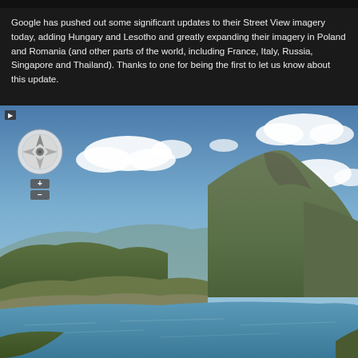Google has pushed out some significant updates to their Street View imagery today, adding Hungary and Lesotho and greatly expanding their imagery in Poland and Romania (and other parts of the world, including France, Italy, Russia, Singapore and Thailand).  Thanks to one for being the first to let us know about this update.
[Figure (photo): Google Street View panoramic photo showing a mountainous landscape with a lake or reservoir in Lesotho. The image shows green hills and a rocky mountain peak on the right side, a blue-green body of water in the foreground, and a partly cloudy blue sky. A Street View navigation compass control is visible in the upper-left corner of the photo.]